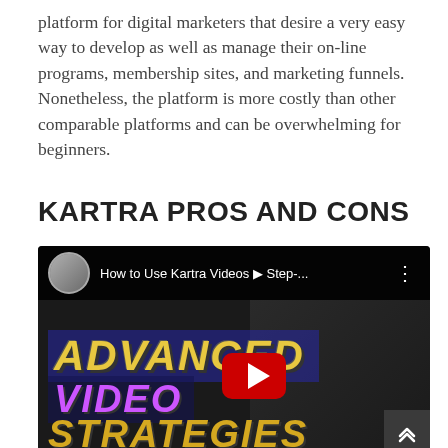platform for digital marketers that desire a very easy way to develop as well as manage their on-line programs, membership sites, and marketing funnels. Nonetheless, the platform is more costly than other comparable platforms and can be overwhelming for beginners.
KARTRA PROS AND CONS
[Figure (screenshot): YouTube video thumbnail showing 'How to Use Kartra Videos – Step-...' with text overlays: ADVANCED (yellow, italic), VIDEO (purple, italic), STRATEGIES (gold, italic), a man thinking on the right side, a YouTube play button in the center, and a small avatar of a man on the top-left.]